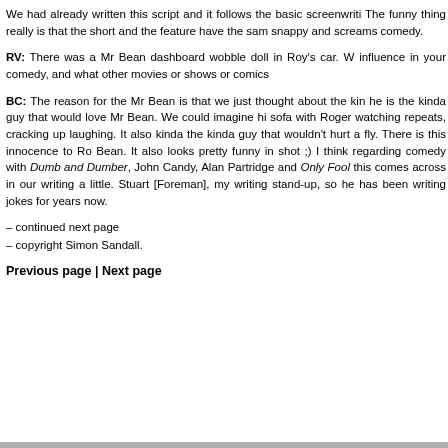We had already written this script and it follows the basic screenwrit... The funny thing really is that the short and the feature have the sam... snappy and screams comedy.
RV: There was a Mr Bean dashboard wobble doll in Roy's car. W... influence in your comedy, and what other movies or shows or comics...
BC: The reason for the Mr Bean is that we just thought about the kin... he is the kinda guy that would love Mr Bean. We could imagine hi... sofa with Roger watching repeats, cracking up laughing. It also kinda... the kinda guy that wouldn't hurt a fly. There is this innocence to Ro... Bean. It also looks pretty funny in shot ;) I think regarding comedy... with Dumb and Dumber, John Candy, Alan Partridge and Only Fool... this comes across in our writing a little. Stuart [Foreman], my writing... stand-up, so he has been writing jokes for years now.
– continued next page
– copyright Simon Sandall.
Previous page | Next page